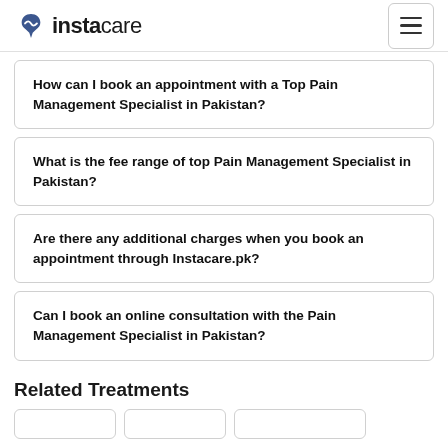instacare
How can I book an appointment with a Top Pain Management Specialist in Pakistan?
What is the fee range of top Pain Management Specialist in Pakistan?
Are there any additional charges when you book an appointment through Instacare.pk?
Can I book an online consultation with the Pain Management Specialist in Pakistan?
Related Treatments